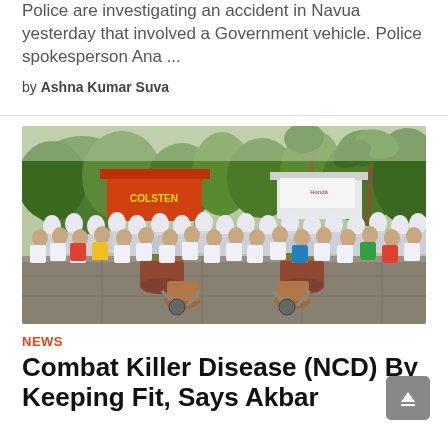Police are investigating an accident in Navua yesterday that involved a Government vehicle. Police spokesperson Ana ...
by Ashna Kumar Suva
[Figure (photo): Large group photo of participants in a community fitness/NCD awareness event, standing outdoors on a paved area surrounded by tropical trees and tents with banners.]
NEWS
Combat Killer Disease (NCD) By Keeping Fit, Says Akbar